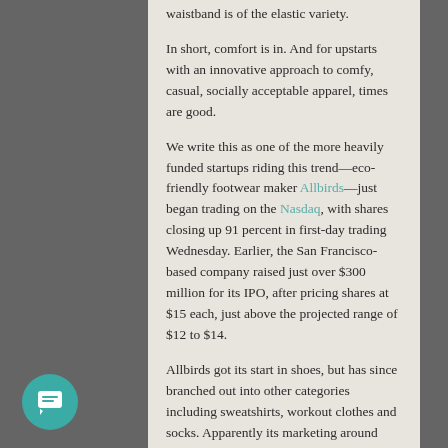waistband is of the elastic variety.
In short, comfort is in. And for upstarts with an innovative approach to comfy, casual, socially acceptable apparel, times are good.
We write this as one of the more heavily funded startups riding this trend—eco-friendly footwear maker Allbirds—just began trading on the Nasdaq, with shares closing up 91 percent in first-day trading Wednesday. Earlier, the San Francisco-based company raised just over $300 million for its IPO, after pricing shares at $15 each, just above the projected range of $12 to $14.
Allbirds got its start in shoes, but has since branched out into other categories including sweatshirts, workout clothes and socks. Apparently its marketing around sustainability and comfort has struck a chord among consumers